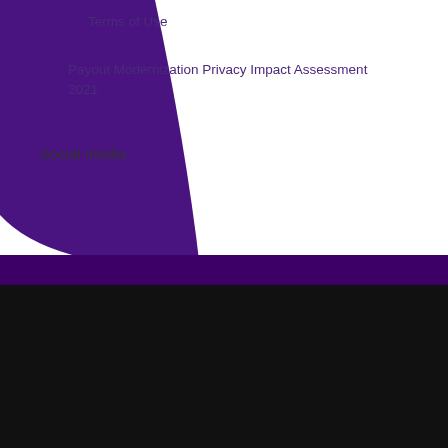Terms of Use
Payout Modernization Privacy Impact Assessment 2021
Social media
We use cookies to improve functionality and performance. By clicking "OK" or by continuing to browse this site, you agree to the use of cookies. To find out more, visit the cookie privacy policy
OK
Chat with CDIC